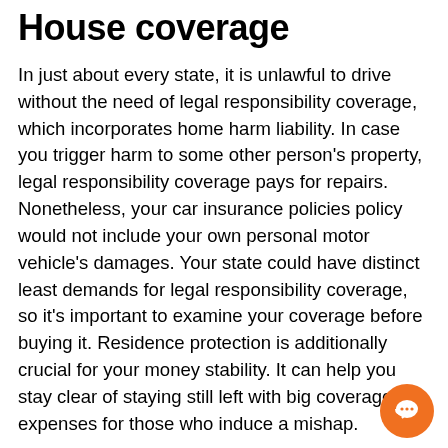House coverage
In just about every state, it is unlawful to drive without the need of legal responsibility coverage, which incorporates home harm liability. In case you trigger harm to some other person's property, legal responsibility coverage pays for repairs. Nonetheless, your car insurance policies policy would not include your own personal motor vehicle's damages. Your state could have distinct least demands for legal responsibility coverage, so it's important to examine your coverage before buying it. Residence protection is additionally crucial for your money stability. It can help you stay clear of staying still left with big coverage expenses for those who induce a mishap.
Your insurance policy should have some type of home destruction coverage to compensate you in the celebration of a collision. This protection pays for any damages you lead to to another human being's vehicle, including repa… Furthermore, it pays with the removing of particles after a